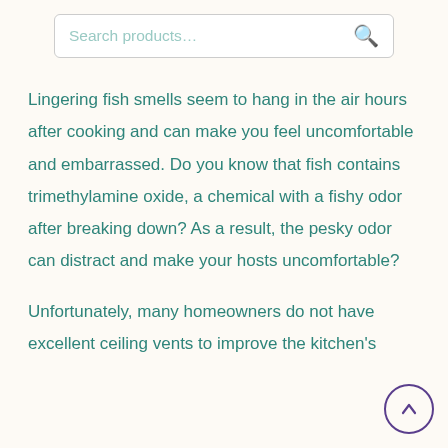Search products…
Lingering fish smells seem to hang in the air hours after cooking and can make you feel uncomfortable and embarrassed. Do you know that fish contains trimethylamine oxide, a chemical with a fishy odor after breaking down? As a result, the pesky odor can distract and make your hosts uncomfortable?
Unfortunately, many homeowners do not have excellent ceiling vents to improve the kitchen's